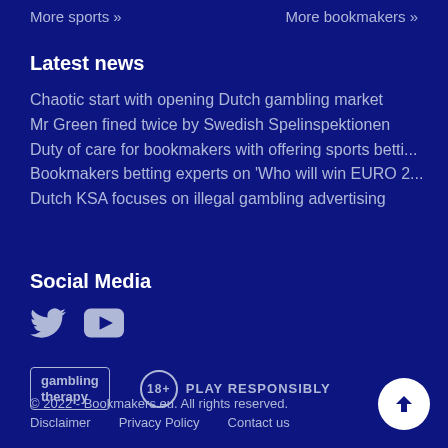More sports » | More bookmakers »
Latest news
Chaotic start with opening Dutch gambling market
Mr Green fined twice by Swedish Spelinspektionen
Duty of care for bookmakers with offering sports betti...
Bookmakers betting experts on 'Who will win EURO 2...
Dutch KSA focuses on illegal gambling advertising
Social Media
[Figure (logo): Twitter and YouTube social media icons]
[Figure (logo): Gambling Therapy logo and 18+ Play Responsibly badge]
© 2022 - Bookmakers.eu. All rights reserved. Disclaimer Privacy Policy Contact us